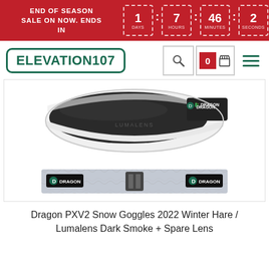END OF SEASON SALE ON NOW. ENDS IN | 1 DAYS : 7 HOURS : 46 MINUTES : 2 SECONDS
[Figure (logo): Elevation107 logo — teal bordered rectangle with bold teal text]
[Figure (photo): Dragon PXV2 snow goggles with dark smoke lens and white/grey winter hare frame, plus matching goggle strap with fur pattern and Dragon branding]
Dragon PXV2 Snow Goggles 2022 Winter Hare / Lumalens Dark Smoke + Spare Lens